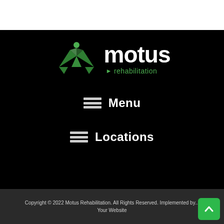[Figure (logo): Motus Rehabilitation logo with green figure icon and white 'motus' text with green 'rehabilitation' subtitle]
≡ Menu
≡ Locations
Copyright © 2022 Motus Rehabilitation. All Rights Reserved. Implemented by... Your Website